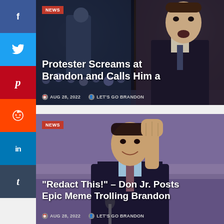[Figure (photo): Social media share buttons sidebar: Facebook (f), Twitter bird, Pinterest (p), Reddit alien, LinkedIn (in), Tumblr (t)]
[Figure (photo): News article card with dark background showing crowd scene and a man in suit. Badge: NEWS. Title: Protester Screams at Brandon and Calls Him a. Date: AUG 28, 2022. Author: LET'S GO BRANDON]
[Figure (photo): News article card showing Don Jr. raising fist against purple background. Badge: NEWS. Title: Redact This! – Don Jr. Posts Epic Meme Trolling Brandon. Date: AUG 28, 2022. Author: LET'S GO BRANDON]